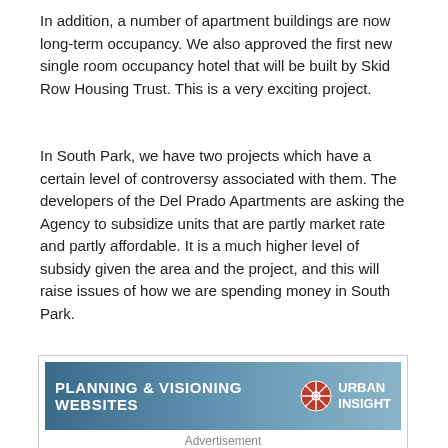In addition, a number of apartment buildings are now long-term occupancy. We also approved the first new single room occupancy hotel that will be built by Skid Row Housing Trust. This is a very exciting project.
In South Park, we have two projects which have a certain level of controversy associated with them. The developers of the Del Prado Apartments are asking the Agency to subsidize units that are partly market rate and partly affordable. It is a much higher level of subsidy given the area and the project, and this will raise issues of how we are spending money in South Park.
[Figure (other): Advertisement banner for Urban Insight: Planning & Visioning Websites with logo]
Advertisement
The other question is the RCI project at Ninth and Figueroa It will be a large office building with some residential component, and it is being done in part with a density transfer. It raises the issue, at what point do we need to encourage a greater level of housing?
I think it's fair to say that the housing on that project is a rather small part